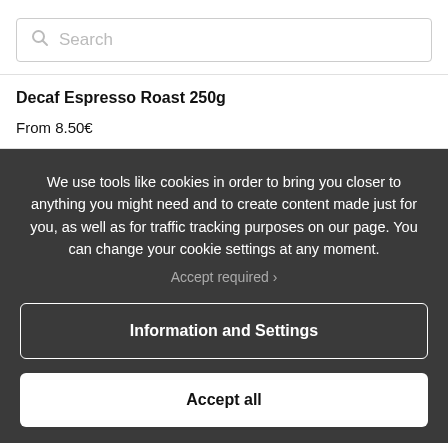Search
Decaf Espresso Roast 250g
From 8.50€
We use tools like cookies in order to bring you closer to anything you might need and to create content made just for you, as well as for traffic tracking purposes on our page. You can change your cookie settings at any moment.
Accept required ›
Information and Settings
Accept all